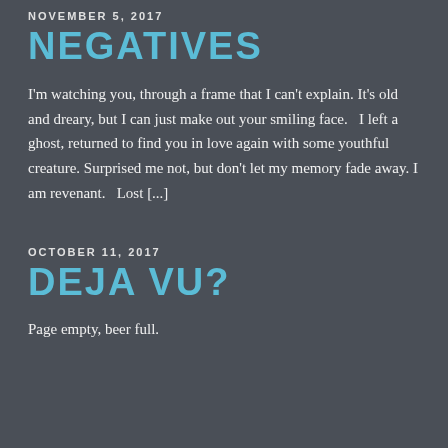NOVEMBER 5, 2017
NEGATIVES
I'm watching you, through a frame that I can't explain. It's old and dreary, but I can just make out your smiling face.   I left a ghost, returned to find you in love again with some youthful creature.  Surprised me not, but don't let my memory fade away. I am revenant.   Lost [...]
OCTOBER 11, 2017
DEJA VU?
Page empty, beer full.